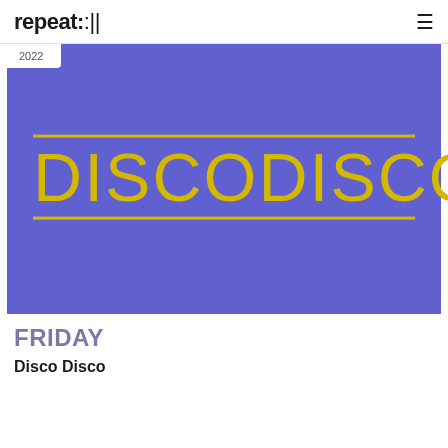repeat:|| ≡
[Figure (illustration): Purple/violet rectangular banner image with the text DISCODISCO in large yellow uppercase letters with yellow horizontal lines above and below the text. A white badge in the top-left corner shows '2022'.]
FRIDAY
Disco Disco